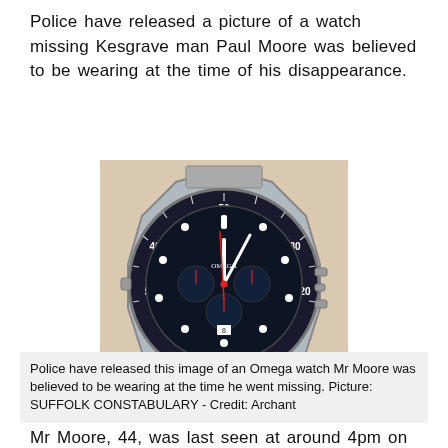Police have released a picture of a watch missing Kesgrave man Paul Moore was believed to be wearing at the time of his disappearance.
[Figure (photo): Photograph of an Omega Seamaster Diver 300M chronograph watch with black dial and silver metal bracelet.]
Police have released this image of an Omega watch Mr Moore was believed to be wearing at the time he went missing. Picture: SUFFOLK CONSTABULARY - Credit: Archant
Mr Moore, 44, was last seen at around 4pm on